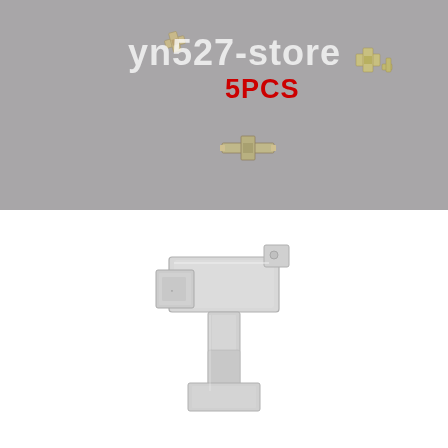[Figure (photo): Product photo showing 5 small metal clips/connectors scattered on a gray fabric background. Watermark text 'yn527-store' and red '5PCS' label overlay the image.]
[Figure (photo): Close-up photo of a single silver metal clip/connector component shown against a white background. The component appears to be a small metallic bracket or spring clip.]